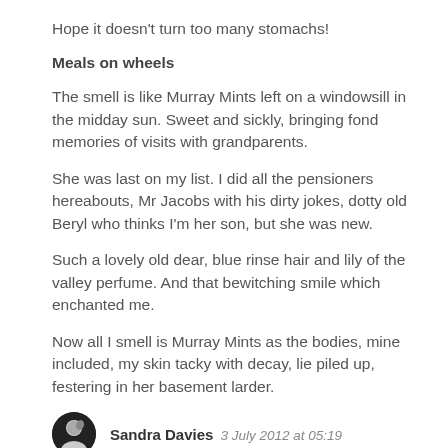Hope it doesn't turn too many stomachs!
Meals on wheels
The smell is like Murray Mints left on a windowsill in the midday sun. Sweet and sickly, bringing fond memories of visits with grandparents.
She was last on my list. I did all the pensioners hereabouts, Mr Jacobs with his dirty jokes, dotty old Beryl who thinks I'm her son, but she was new.
Such a lovely old dear, blue rinse hair and lily of the valley perfume. And that bewitching smile which enchanted me.
Now all I smell is Murray Mints as the bodies, mine included, my skin tacky with decay, lie piled up, festering in her basement larder.
Sandra Davies  3 July 2012 at 05:19